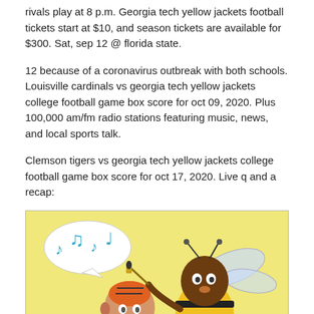rivals play at 8 p.m. Georgia tech yellow jackets football tickets start at $10, and season tickets are available for $300. Sat, sep 12 @ florida state.
12 because of a coronavirus outbreak with both schools. Louisville cardinals vs georgia tech yellow jackets college football game box score for oct 09, 2020. Plus 100,000 am/fm radio stations featuring music, news, and local sports talk.
Clemson tigers vs georgia tech yellow jackets college football game box score for oct 17, 2020. Live q and a recap:
[Figure (illustration): Cartoon illustration showing a character with an orange striped helmet on the left and a Georgia Tech Yellow Jacket mascot bee character on the right holding a paintbrush and palette with a speech bubble containing blue musical notes, set against a yellow background.]